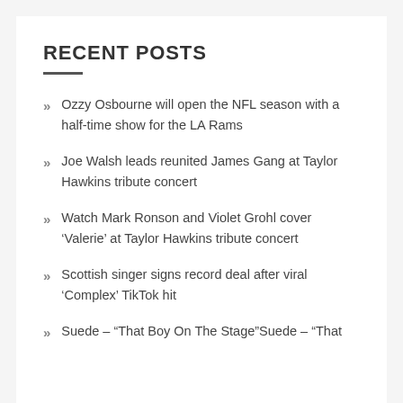RECENT POSTS
Ozzy Osbourne will open the NFL season with a half-time show for the LA Rams
Joe Walsh leads reunited James Gang at Taylor Hawkins tribute concert
Watch Mark Ronson and Violet Grohl cover ‘Valerie’ at Taylor Hawkins tribute concert
Scottish singer signs record deal after viral ‘Complex’ TikTok hit
Suede – “That Boy On The Stage”Suede – “That